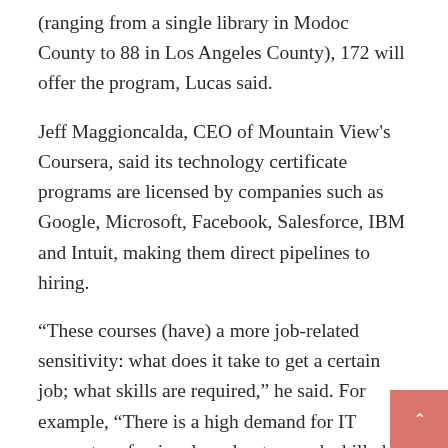(ranging from a single library in Modoc County to 88 in Los Angeles County), 172 will offer the program, Lucas said.
Jeff Maggioncalda, CEO of Mountain View's Coursera, said its technology certificate programs are licensed by companies such as Google, Microsoft, Facebook, Salesforce, IBM and Intuit, making them direct pipelines to hiring.
“These courses (have) a more job-related sensitivity: what does it take to get a certain job; what skills are required,” he said. For example, “There is a high demand for IT support professionals and not enough skilled people to do it. You don’t need a BA. It pays well and can be